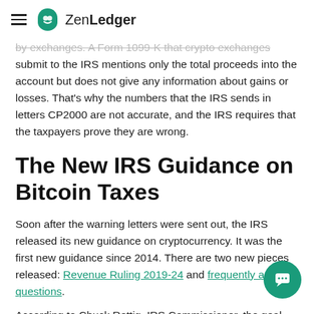ZenLedger
by exchanges. A Form 1099-K that crypto exchanges submit to the IRS mentions only the total proceeds into the account but does not give any information about gains or losses. That's why the numbers that the IRS sends in letters CP2000 are not accurate, and the IRS requires that the taxpayers prove they are wrong.
The New IRS Guidance on Bitcoin Taxes
Soon after the warning letters were sent out, the IRS released its new guidance on cryptocurrency. It was the first new guidance since 2014. There are two new pieces released: Revenue Ruling 2019-24 and frequently asked questions.
According to Chuck Rettig, IRS Commissioner, the goal